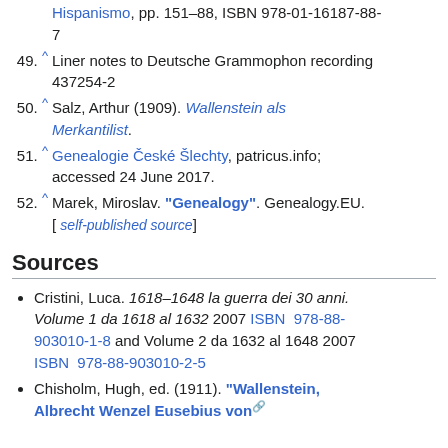Hispanismo, pp. 151-88, ISBN 978-01-16187-88-7
49. ^ Liner notes to Deutsche Grammophon recording 437254-2
50. ^ Salz, Arthur (1909). Wallenstein als Merkantilist.
51. ^ Genealogie České Šlechty, patricus.info; accessed 24 June 2017.
52. ^ Marek, Miroslav. "Genealogy". Genealogy.EU. [ self-published source]
Sources
Cristini, Luca. 1618–1648 la guerra dei 30 anni. Volume 1 da 1618 al 1632 2007 ISBN 978-88-903010-1-8 and Volume 2 da 1632 al 1648 2007 ISBN 978-88-903010-2-5
Chisholm, Hugh, ed. (1911). "Wallenstein, Albrecht Wenzel Eusebius von"